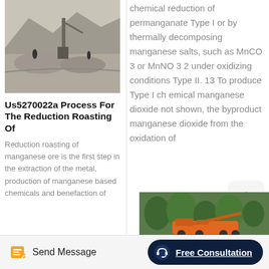[Figure (photo): Mining/quarry site with heavy machinery and rock piles in a mountainous area]
Us5270022a Process For The Reduction Roasting Of
Reduction roasting of manganese ore is the first step in the extraction of the metal, production of manganese based chemicals and benefaction of
chemical reduction of permanganate Type I or by thermally decomposing manganese salts, such as MnCO 3 or MnNO 3 2 under oxidizing conditions Type II. 13 To produce Type I ch emical manganese dioxide not shown, the byproduct manganese dioxide from the oxidation of
[Figure (photo): Industrial mining equipment (orange/red machinery) among green trees]
Send Message
Free Consultation